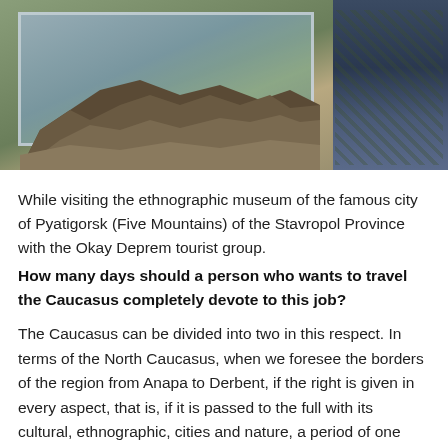[Figure (photo): Close-up photograph of a rocky geological specimen or terrain model, displayed on a flat surface, with a framed map or photograph visible behind it, and a person in camouflage clothing on the right side.]
While visiting the ethnographic museum of the famous city of Pyatigorsk (Five Mountains) of the Stavropol Province with the Okay Deprem tourist group.
How many days should a person who wants to travel the Caucasus completely devote to this job?
The Caucasus can be divided into two in this respect. In terms of the North Caucasus, when we foresee the borders of the region from Anapa to Derbent, if the right is given in every aspect, that is, if it is passed to the full with its cultural, ethnographic, cities and nature, a period of one month may be required. When we consider all these, of course, there are hundreds of places. Almost the same time should be